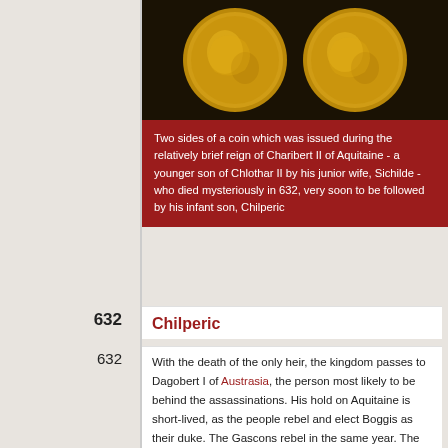[Figure (photo): Two gold coins showing obverse and reverse sides, issued during reign of Charibert II of Aquitaine, displayed on dark background]
Two sides of a coin which was issued during the relatively brief reign of Charibert II of Aquitaine - a younger son of Chlothar II by his junior wife, Sichilde - who died mysteriously in 632, very soon to be followed by his infant son, Chilperic
632
Chilperic
632
With the death of the only heir, the kingdom passes to Dagobert I of Austrasia, the person most likely to be behind the assassinations. His hold on Aquitaine is short-lived, as the people rebel and elect Boggis as their duke. The Gascons rebel in the same year. The Gascons are defeated, but Boggis remains in Aquitaine, ruling semi-autonomously.
632-c.660
Boggis / Bodogisel